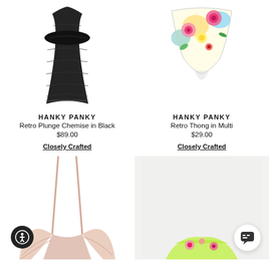[Figure (photo): Black lace chemise dress product photo on white background]
[Figure (photo): Colorful floral print thong underwear product photo on white background]
HANKY PANKY
Retro Plunge Chemise in Black
$89.00
Closely Crafted
HANKY PANKY
Retro Thong in Multi
$29.00
Closely Crafted
[Figure (photo): Nude/blush colored lace bralette on white background, partially visible]
[Figure (photo): Colorful floral/neon item partially visible on light background]